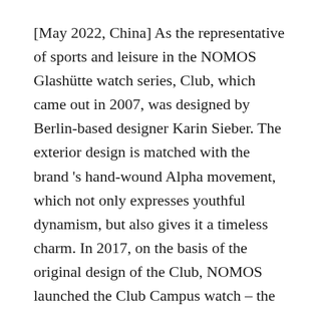[May 2022, China] As the representative of sports and leisure in the NOMOS Glashütte watch series, Club, which came out in 2007, was designed by Berlin-based designer Karin Sieber. The exterior design is matched with the brand 's hand-wound Alpha movement, which not only expresses youthful dynamism, but also gives it a timeless charm. In 2017, on the basis of the original design of the Club, NOMOS launched the Club Campus watch – the dial layout in a combination of Arabic numerals and Roman numerals, showing a relaxed and humorous attitude, plus a higher degree of recognition. The Club Campus, with its rich dial colors, different sizes and movement